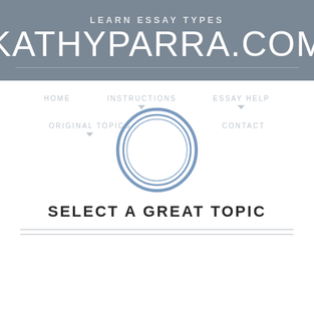LEARN ESSAY TYPES
KATHYPARRA.COM
HOME   INSTRUCTIONS   ESSAY HELP
[Figure (illustration): Decorative double-ring circle graphic in steel blue, centered on page]
ORIGINAL TOPICS   CONTACT
SELECT A GREAT TOPIC